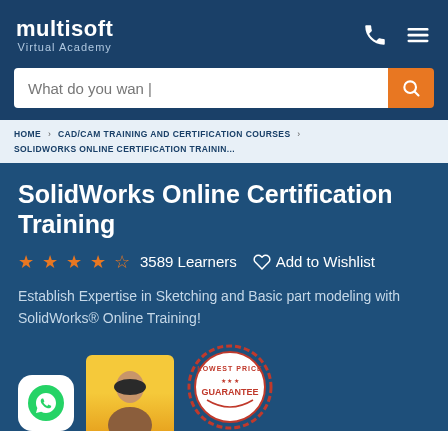multisoft Virtual Academy
What do you wan|
HOME > CAD/CAM TRAINING AND CERTIFICATION COURSES > SOLIDWORKS ONLINE CERTIFICATION TRAININ...
SolidWorks Online Certification Training
★★★★☆  3589 Learners   ♡ Add to Wishlist
Establish Expertise in Sketching and Basic part modeling with SolidWorks® Online Training!
[Figure (logo): WhatsApp logo button in white rounded square]
[Figure (photo): Person photo with yellow background]
[Figure (infographic): Lowest Price Guarantee circular badge in red and white]